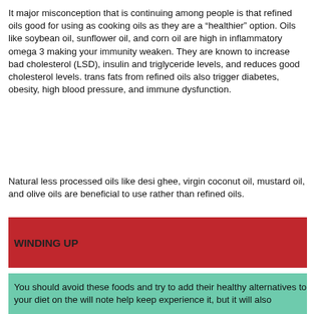It major misconception that is continuing among people is that refined oils good for using as cooking oils as they are a “healthier” option. Oils like soybean oil, sunflower oil, and corn oil are high in inflammatory omega 3 making your immunity weaken. They are known to increase bad cholesterol (LSD), insulin and triglyceride levels, and reduces good cholesterol levels. trans fats from refined oils also trigger diabetes, obesity, high blood pressure, and immune dysfunction.
Natural less processed oils like desi ghee, virgin coconut oil, mustard oil, and olive oils are beneficial to use rather than refined oils.
WINDING UP
You should avoid these foods and try to add their healthy alternatives to your diet on the will note help keep experience it, but it will also...